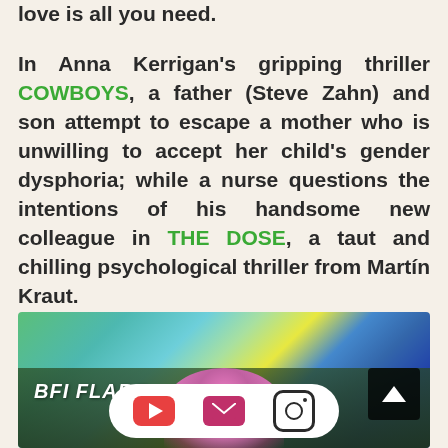love is all you need.
In Anna Kerrigan's gripping thriller COWBOYS, a father (Steve Zahn) and son attempt to escape a mother who is unwilling to accept her child's gender dysphoria; while a nurse questions the intentions of his handsome new colleague in THE DOSE, a taut and chilling psychological thriller from Martín Kraut.
[Figure (photo): BFI Flare banner image with colorful abstract swirling background (greens, blues, yellows) and a person with pink hair in the lower portion. Includes a back-to-top arrow button and social media icons bar (YouTube, email, Instagram) at the bottom.]